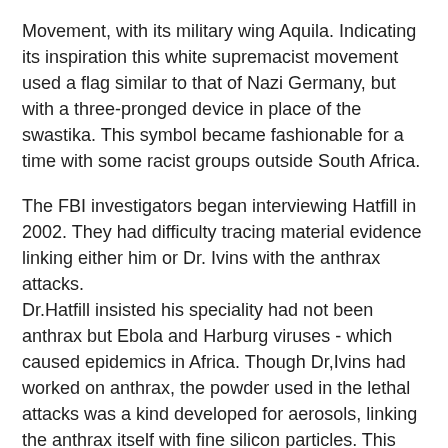Movement, with its military wing Aquila. Indicating its inspiration this white supremacist movement used a flag similar to that of Nazi Germany, but with a three-pronged device in place of the swastika. This symbol became fashionable for a time with some racist groups outside South Africa.
The FBI investigators began interviewing Hatfill in 2002. They had difficulty tracing material evidence linking either him or Dr. Ivins with the anthrax attacks. Dr.Hatfill insisted his speciality had not been anthrax but Ebola and Harburg viruses - which caused epidemics in Africa. Though Dr,Ivins had worked on anthrax, the powder used in the lethal attacks was a kind developed for aerosols, linking the anthrax itself with fine silicon particles. This work had been done after his time, and he would not have either the skills nor equipment to duplicate it. The anthrax strain was supposedly traced to a flask used by Dr.Ivins, but this contained no silicon.
Still, the FBI decided Ivins was their man soon after his suicide. The government exonerated Dr. Hatfill and agreed